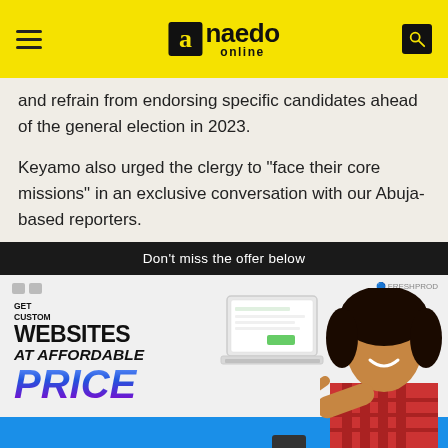a.naedo online
and refrain from endorsing specific candidates ahead of the general election in 2023.
Keyamo also urged the clergy to “face their core missions” in an exclusive conversation with our Abuja-based reporters.
Don’t miss the offer below
[Figure (photo): Advertisement banner: Get custom websites at affordable price. Shows a laptop and a smiling woman pointing.]